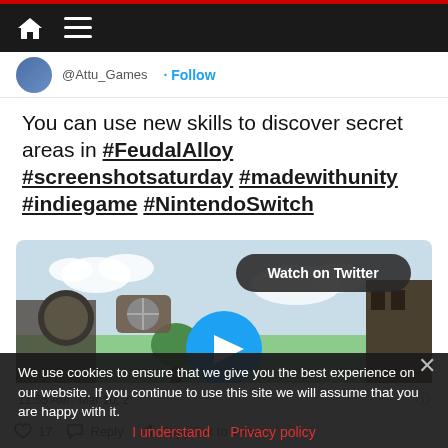Navigation bar with home and menu icons
@Attu_Games · Follow
You can use new skills to discover secret areas in #FeudalAlloy #screenshotsaturday #madewithunity #indiegame #NintendoSwitch
[Figure (screenshot): Video thumbnail showing a game scene from Feudal Alloy with green landscape, sky, and a 'Watch on Twitter' badge with play button]
We use cookies to ensure that we give you the best experience on our website. If you continue to use this site we will assume that you are happy with it.
11:55 AM · Mar 10, 2
I understand   Privacy policy
17   Reply   Copy link to Tweet